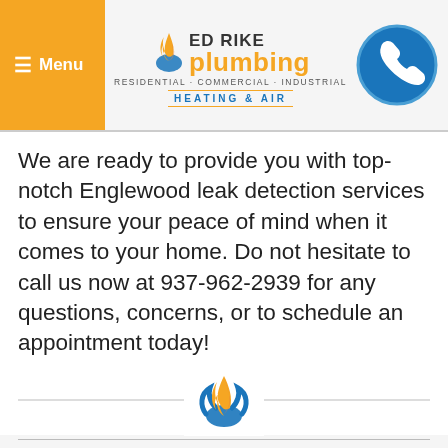Menu | Ed Rike Plumbing - Residential·Commercial·Industrial - Heating & Air
We are ready to provide you with top-notch Englewood leak detection services to ensure your peace of mind when it comes to your home. Do not hesitate to call us now at 937-962-2939 for any questions, concerns, or to schedule an appointment today!
[Figure (logo): Ed Rike Plumbing flame logo divider]